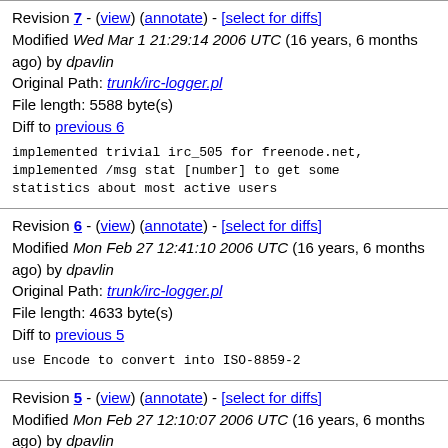Revision 7 - (view) (annotate) - [select for diffs]
Modified Wed Mar 1 21:29:14 2006 UTC (16 years, 6 months ago) by dpavlin
Original Path: trunk/irc-logger.pl
File length: 5588 byte(s)
Diff to previous 6
implemented trivial irc_505 for freenode.net, implemented /msg stat [number] to get some statistics about most active users
Revision 6 - (view) (annotate) - [select for diffs]
Modified Mon Feb 27 12:41:10 2006 UTC (16 years, 6 months ago) by dpavlin
Original Path: trunk/irc-logger.pl
File length: 4633 byte(s)
Diff to previous 5
use Encode to convert into ISO-8859-2
Revision 5 - (view) (annotate) - [select for diffs]
Modified Mon Feb 27 12:10:07 2006 UTC (16 years, 6 months ago) by dpavlin
Original Path: trunk/irc-logger.pl